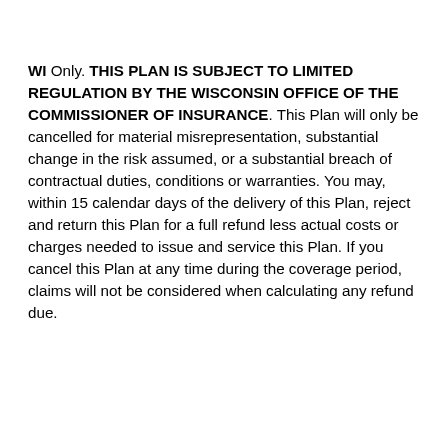WI Only. THIS PLAN IS SUBJECT TO LIMITED REGULATION BY THE WISCONSIN OFFICE OF THE COMMISSIONER OF INSURANCE. This Plan will only be cancelled for material misrepresentation, substantial change in the risk assumed, or a substantial breach of contractual duties, conditions or warranties. You may, within 15 calendar days of the delivery of this Plan, reject and return this Plan for a full refund less actual costs or charges needed to issue and service this Plan. If you cancel this Plan at any time during the coverage period, claims will not be considered when calculating any refund due.